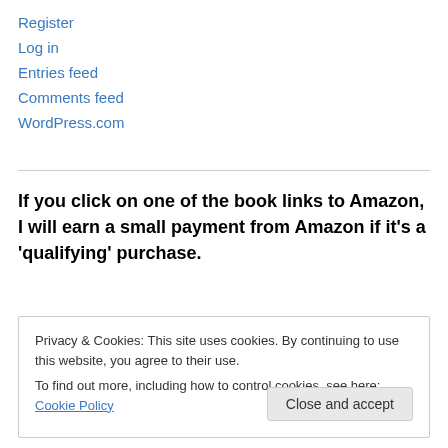Register
Log in
Entries feed
Comments feed
WordPress.com
If you click on one of the book links to Amazon, I will earn a small payment from Amazon if it's a ‘qualifying’ purchase.
Privacy & Cookies: This site uses cookies. By continuing to use this website, you agree to their use.
To find out more, including how to control cookies, see here: Cookie Policy